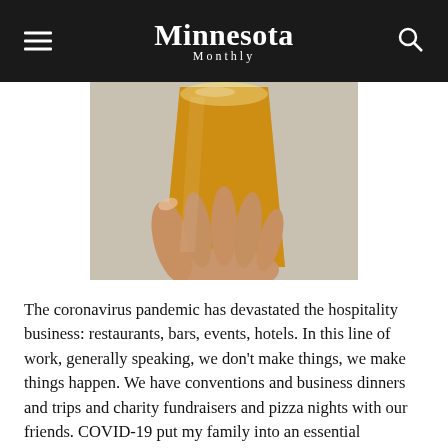Minnesota Monthly
[Figure (photo): A hand holding a glass of beer with an amber/golden liquid, photographed from below against a light background.]
The coronavirus pandemic has devastated the hospitality business: restaurants, bars, events, hotels. In this line of work, generally speaking, we don't make things, we make things happen. We have conventions and business dinners and trips and charity fundraisers and pizza nights with our friends. COVID-19 put my family into an essential lockdown, only recently dipping our toes into socially distanced driveway glasses of wine and garage birthday parties.